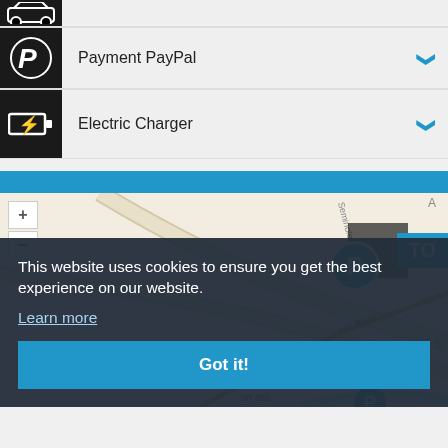(car icon - partial, top)
Payment PayPal
Electric Charger
[Figure (map): Street map with parking markers, zoom controls, blue header bar, and a cookie consent overlay. Map shows streets including SR 659 and nds Road. Parking markers visible with blue 'P' circles and 'TO' badge.]
This website uses cookies to ensure you get the best experience on our website.
Learn more
Got it!